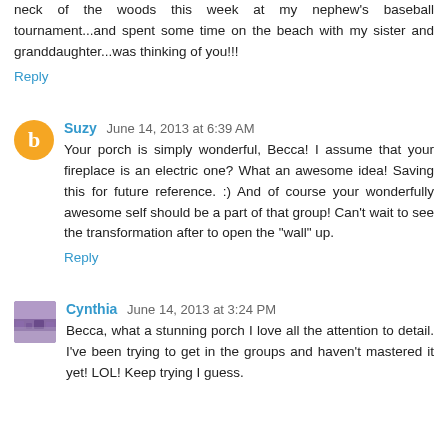neck of the woods this week at my nephew's baseball tournament...and spent some time on the beach with my sister and granddaughter...was thinking of you!!!
Reply
Suzy  June 14, 2013 at 6:39 AM
Your porch is simply wonderful, Becca! I assume that your fireplace is an electric one? What an awesome idea! Saving this for future reference. :) And of course your wonderfully awesome self should be a part of that group! Can't wait to see the transformation after to open the "wall" up.
Reply
Cynthia  June 14, 2013 at 3:24 PM
Becca, what a stunning porch I love all the attention to detail. I've been trying to get in the groups and haven't mastered it yet! LOL! Keep trying I guess.